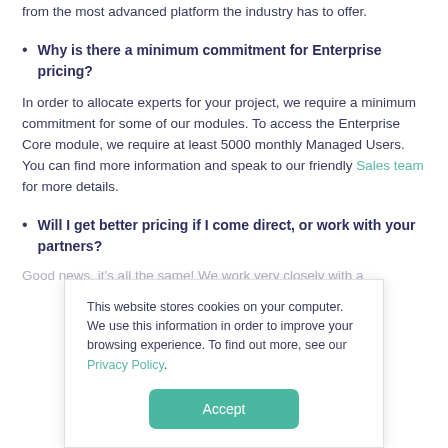from the most advanced platform the industry has to offer.
Why is there a minimum commitment for Enterprise pricing?
In order to allocate experts for your project, we require a minimum commitment for some of our modules. To access the Enterprise Core module, we require at least 5000 monthly Managed Users. You can find more information and speak to our friendly Sales team for more details.
Will I get better pricing if I come direct, or work with your partners?
Good news, it's all the same! We work very closely with a
This website stores cookies on your computer. We use this information in order to improve your browsing experience. To find out more, see our Privacy Policy.
Accept